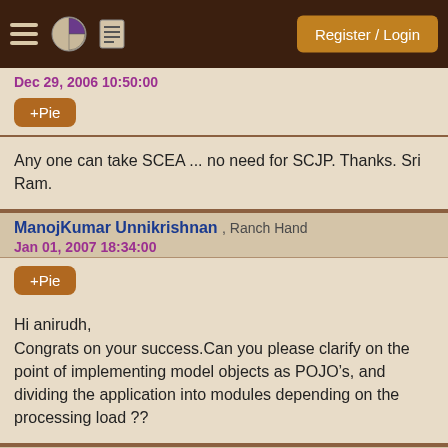Register / Login
Dec 29, 2006 10:50:00
+Pie
Any one can take SCEA ... no need for SCJP. Thanks. Sri Ram.
ManojKumar Unnikrishnan , Ranch Hand
Jan 01, 2007 18:34:00
+Pie
Hi anirudh,
Congrats on your success.Can you please clarify on the point of implementing model objects as POJO’s, and dividing the application into modules depending on the processing load ??
Anirudh Sonthalia , Greenhorn
Jan 02, 2007 01:20:00